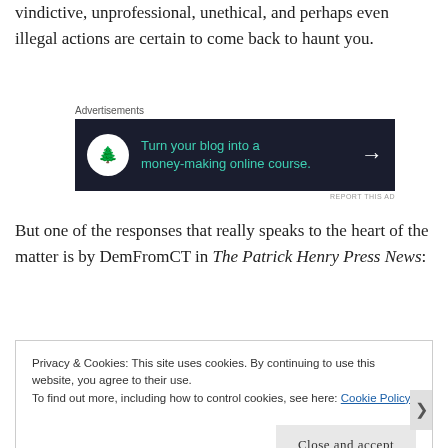vindictive, unprofessional, unethical, and perhaps even illegal actions are certain to come back to haunt you.
[Figure (other): Advertisement banner with dark background: 'Turn your blog into a money-making online course.' with bonsai tree icon and arrow.]
But one of the responses that really speaks to the heart of the matter is by DemFromCT in The Patrick Henry Press News:
Privacy & Cookies: This site uses cookies. By continuing to use this website, you agree to their use. To find out more, including how to control cookies, see here: Cookie Policy